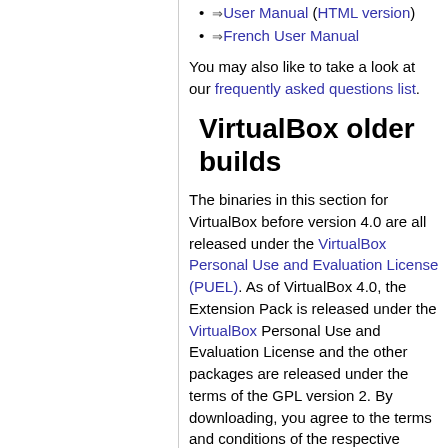⇒User Manual (HTML version)
⇒French User Manual
You may also like to take a look at our frequently asked questions list.
VirtualBox older builds
The binaries in this section for VirtualBox before version 4.0 are all released under the VirtualBox Personal Use and Evaluation License (PUEL). As of VirtualBox 4.0, the Extension Pack is released under the VirtualBox Personal Use and Evaluation License and the other packages are released under the terms of the GPL version 2. By downloading, you agree to the terms and conditions of the respective license.
VirtualBox older builds
VirtualBox Sources